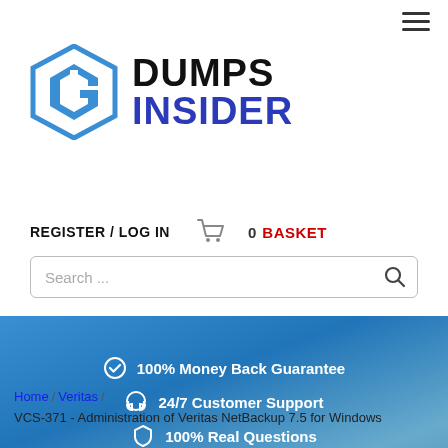[Figure (logo): Dumps Insider logo with hexagonal icon and bold text DUMPS INSIDER]
REGISTER / LOG IN   0 BASKET
Search ...
[Figure (infographic): Blue banner with three items: 100% Money Back Guarantee, 24/7 Customer Support, 100% Real Questions]
Home / Veritas / VCS-371 - Administration of Veritas NetBackup 7.5 for Windows